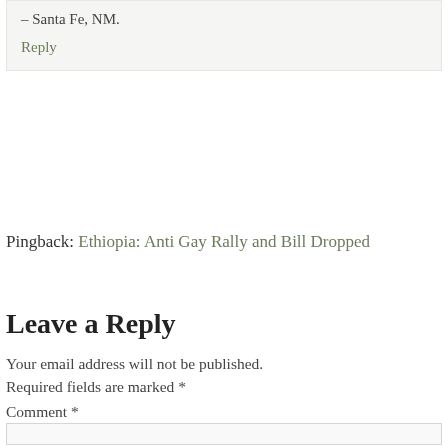– Santa Fe, NM.
Reply
Pingback: Ethiopia: Anti Gay Rally and Bill Dropped
Leave a Reply
Your email address will not be published. Required fields are marked *
Comment *